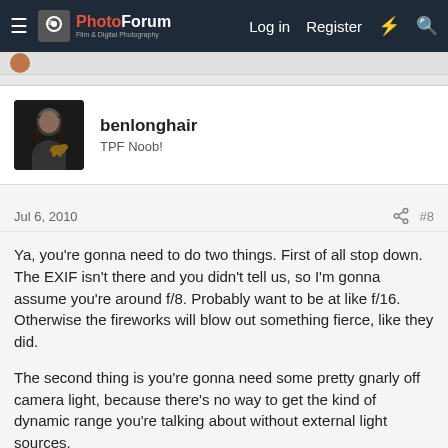ThePhotoForum — Log in  Register
[Figure (photo): User avatar for benlonghair — person with long dark hair holding a small dog, dark background]
benlonghair
TPF Noob!
Jul 6, 2010   #8
Ya, you're gonna need to do two things. First of all stop down. The EXIF isn't there and you didn't tell us, so I'm gonna assume you're around f/8. Probably want to be at like f/16. Otherwise the fireworks will blow out something fierce, like they did.

The second thing is you're gonna need some pretty gnarly off camera light, because there's no way to get the kind of dynamic range you're talking about without external light sources.

The other option would be to do an HDR type thing with multiple exposures, one for the fireworks, one for the family.